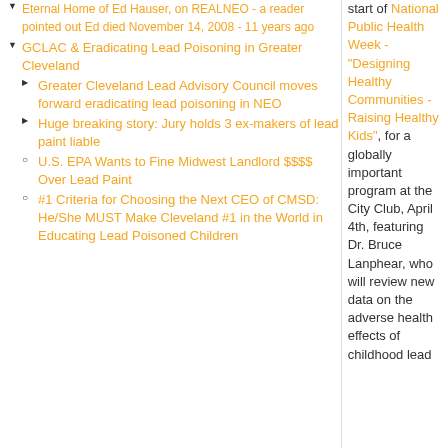Eternal Home of Ed Hauser, on REALNEO - a reader pointed out Ed died November 14, 2008 - 11 years ago
GCLAC & Eradicating Lead Poisoning in Greater Cleveland
Greater Cleveland Lead Advisory Council moves forward eradicating lead poisoning in NEO
Huge breaking story: Jury holds 3 ex-makers of lead paint liable
U.S. EPA Wants to Fine Midwest Landlord $$$$ Over Lead Paint
#1 Criteria for Choosing the Next CEO of CMSD: He/She MUST Make Cleveland #1 in the World in Educating Lead Poisoned Children
start of National Public Health Week - "Designing Healthy Communities - Raising Healthy Kids", for a globally important program at the City Club, April 4th, featuring Dr. Bruce Lanphear, who will review new data on the adverse health effects of childhood lead